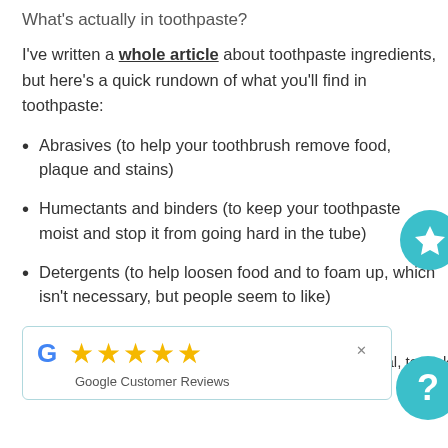What's actually in toothpaste?
I've written a whole article about toothpaste ingredients, but here's a quick rundown of what you'll find in toothpaste:
Abrasives (to help your toothbrush remove food, plaque and stains)
Humectants and binders (to keep your toothpaste moist and stop it from going hard in the tube)
Detergents (to help loosen food and to foam up, which isn't necessary, but people seem to like)
[Figure (other): Google Customer Reviews widget with 5 gold stars and G logo, with a close (x) button]
...tural, to make y...
[Figure (other): Teal circle badge with white star icon]
[Figure (other): Teal circle badge with question mark]